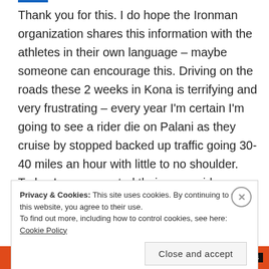Thank you for this. I do hope the Ironman organization shares this information with the athletes in their own language – maybe someone can encourage this. Driving on the roads these 2 weeks in Kona is terrifying and very frustrating – every year I'm certain I'm going to see a rider die on Palani as they cruise by stopped backed up traffic going 30-40 miles an hour with little to no shoulder. Today Ironman routed their group ride through Holualoa
Privacy & Cookies: This site uses cookies. By continuing to use this website, you agree to their use.
To find out more, including how to control cookies, see here: Cookie Policy